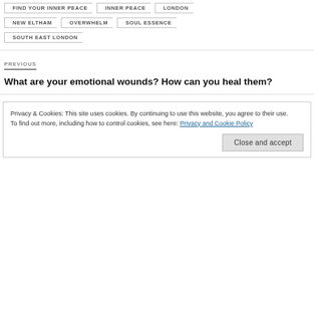FIND YOUR INNER PEACE
INNER PEACE
LONDON
NEW ELTHAM
OVERWHELM
SOUL ESSENCE
SOUTH EAST LONDON
PREVIOUS
What are your emotional wounds? How can you heal them?
Privacy & Cookies: This site uses cookies. By continuing to use this website, you agree to their use.
To find out more, including how to control cookies, see here: Privacy and Cookie Policy
Close and accept